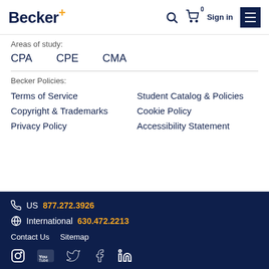Becker+ [navigation header with search, cart, sign in]
Areas of study:
CPA
CPE
CMA
Becker Policies:
Terms of Service
Student Catalog & Policies
Copyright & Trademarks
Cookie Policy
Privacy Policy
Accessibility Statement
US 877.272.3926 | International 630.472.2213 | Contact Us | Sitemap | Social icons: Instagram, YouTube, Twitter, Facebook, LinkedIn